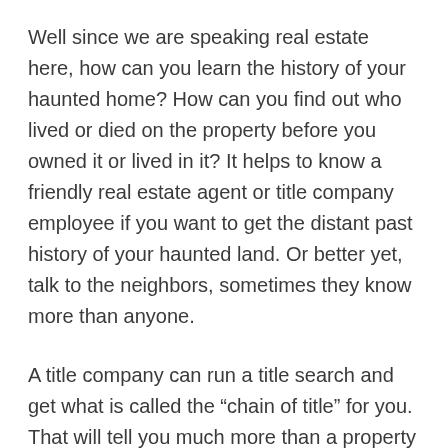Well since we are speaking real estate here, how can you learn the history of your haunted home? How can you find out who lived or died on the property before you owned it or lived in it? It helps to know a friendly real estate agent or title company employee if you want to get the distant past history of your haunted land. Or better yet, talk to the neighbors, sometimes they know more than anyone.
A title company can run a title search and get what is called the “chain of title” for you. That will tell you much more than a property profile or the county records, which often go back only about 10 years. A chain of title can go way, way back-as far as Mexican or Spanish land grants in our area.